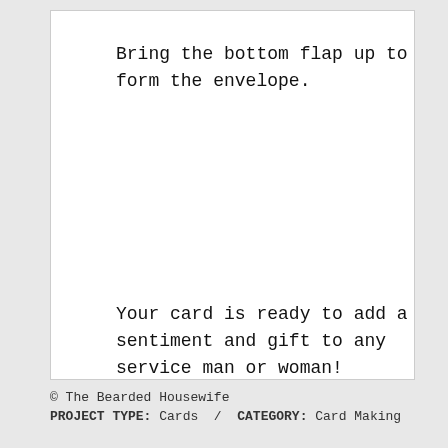Bring the bottom flap up to form the envelope.
Your card is ready to add a sentiment and gift to any service man or woman!
© The Bearded Housewife
PROJECT TYPE: Cards / CATEGORY: Card Making